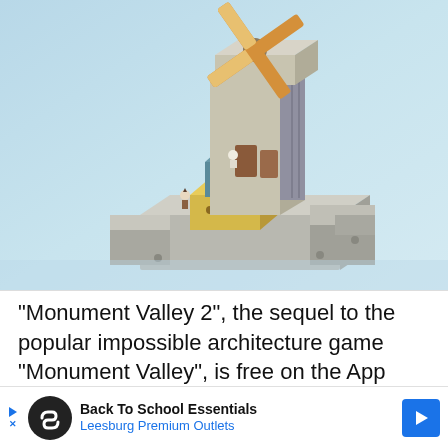[Figure (illustration): Screenshot from Monument Valley 2 game showing an isometric impossible architecture windmill structure with wooden blades, stacked cubic blocks in yellow and teal colors, a small white character, and a blue crescent moon motif, set against a light blue-green gradient sky background.]
"Monument Valley 2", the sequel to the popular impossible architecture game "Monument Valley", is free on the App Store (previously $4.99 ... ebut.
[Figure (infographic): Advertisement bar: Back To School Essentials - Leesburg Premium Outlets, with a circular black icon showing an infinity/loop symbol, a blue diamond arrow button, and navigation controls on the left.]